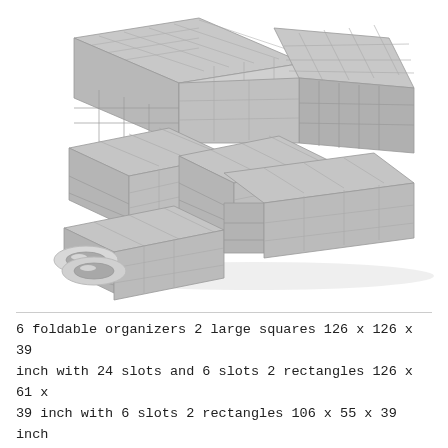[Figure (photo): Multiple gray foldable fabric drawer organizers arranged in a flat-lay perspective view, showing different sizes with grid compartments. Two rolls of adhesive tape or velcro strips are visible in the lower left area of the photo.]
6 foldable organizers 2 large squares 126 x 126 x 39 inch with 24 slots and 6 slots 2 rectangles 126 x 61 x 39 inch with 6 slots 2 rectangles 106 x 55 x 39 inch